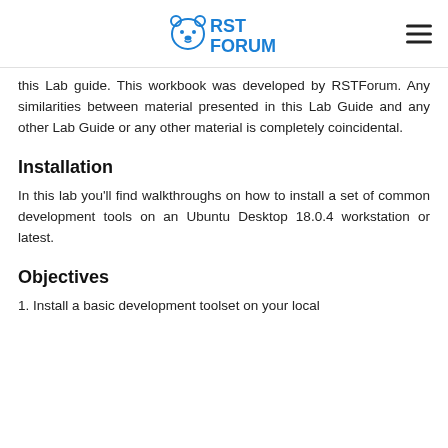RST FORUM
this Lab guide. This workbook was developed by RSTForum. Any similarities between material presented in this Lab Guide and any other Lab Guide or any other material is completely coincidental.
Installation
In this lab you'll find walkthroughs on how to install a set of common development tools on an Ubuntu Desktop 18.0.4 workstation or latest.
Objectives
1. Install a basic development toolset on your local